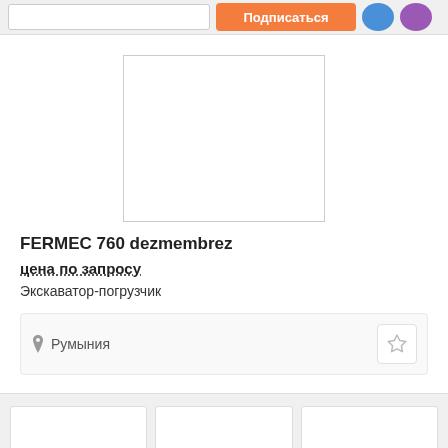Подписаться
[Figure (photo): Empty white product image placeholder box]
FERMEC 760 dezmembrez
цена по запросу
Экскаватор-погрузчик
Румыния
[Figure (photo): Three thumbnail image placeholders at bottom]